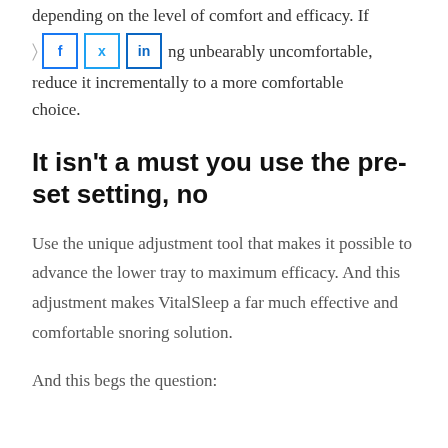depending on the level of comfort and efficacy. If
ng unbearably uncomfortable, reduce it incrementally to a more comfortable choice.
It isn’t a must you use the pre-set setting, no
Use the unique adjustment tool that makes it possible to advance the lower tray to maximum efficacy. And this adjustment makes VitalSleep a far much effective and comfortable snoring solution.
And this begs the question: